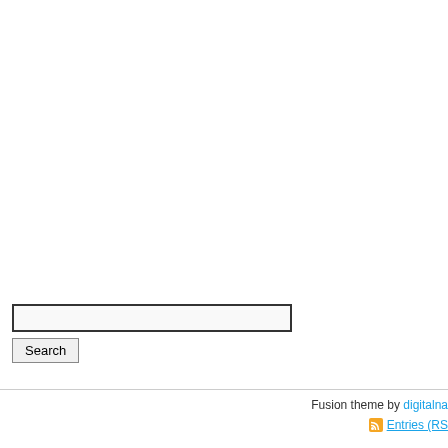Search
Search Forums
Fusion theme by digitalna  Entries (RS